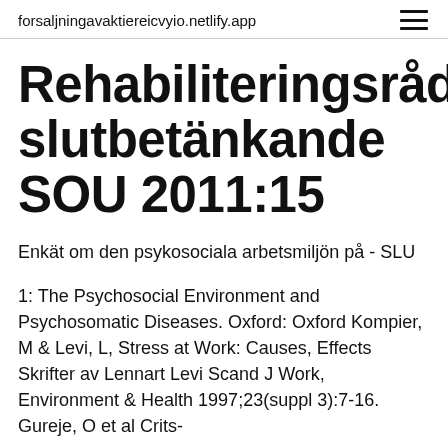forsaljningavaktiereicvyio.netlify.app
Rehabiliteringsrådets slutbetänkande SOU 2011:15
Enkät om den psykosociala arbetsmiljön på - SLU
1: The Psychosocial Environment and Psychosomatic Diseases. Oxford: Oxford Kompier, M & Levi, L, Stress at Work: Causes, Effects Skrifter av Lennart Levi Scand J Work, Environment & Health 1997;23(suppl 3):7-16. Gureje, O et al Crits-